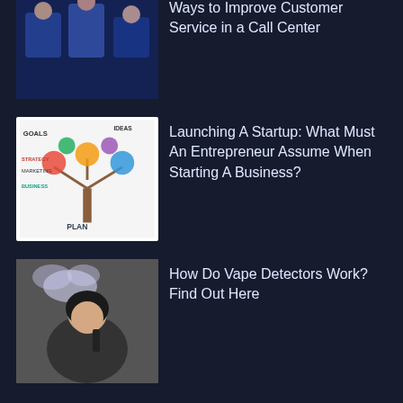[Figure (photo): Thumbnail showing customer service / call center workers]
Ways to Improve Customer Service in a Call Center
[Figure (illustration): Startup mind-map illustration with words: Goals, Strategy, Ideas, Marketing, Business Plan]
Launching A Startup: What Must An Entrepreneur Assume When Starting A Business?
[Figure (photo): Person vaping, exhaling vapor cloud]
How Do Vape Detectors Work? Find Out Here
How To Get Funding For Your Startup: 8 Useful Tips
Recent Posts
Ways to Improve Customer Service in a Call Center
Launching A Startup: What Must An